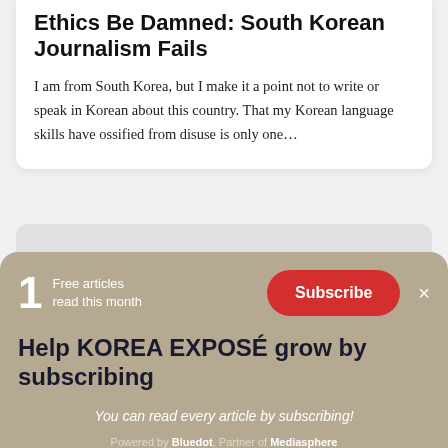Ethics Be Damned: South Korean Journalism Fails
I am from South Korea, but I make it a point not to write or speak in Korean about this country. That my Korean language skills have ossified from disuse is only one…
1
Free articles
read this month
Subscribe
×
Help KOREA EXPOSÉ grow by subscribing
You can read every article by subscribing!
Powered by Bluedot, Partner of Mediasphere